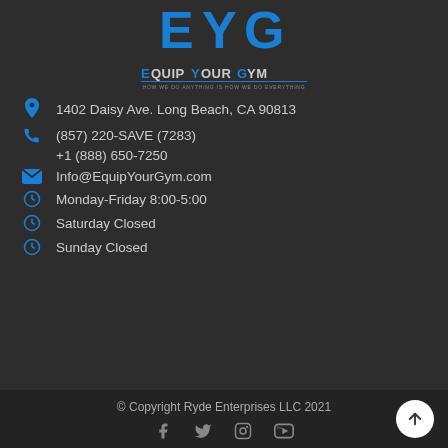[Figure (logo): EYG Equip Your Gym logo with blue letters on dark background and tagline 'HOW WE DO ANYTHING IS HOW WE DO EVERYTHING']
1402 Daisy Ave. Long Beach, CA 90813
(857) 220-SAVE (7283)
+1 (888) 650-7250
Info@EquipYourGym.com
Monday-Friday 8:00-5:00
Saturday Closed
Sunday Closed
© Copyright Ryde Enterprises LLC 2021